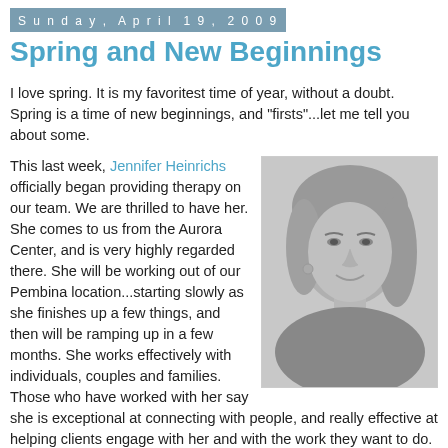Sunday, April 19, 2009
Spring and New Beginnings
I love spring. It is my favoritest time of year, without a doubt. Spring is a time of new beginnings, and "firsts"...let me tell you about some.
[Figure (photo): Black and white headshot photo of Jennifer Heinrichs, a woman with shoulder-length blonde hair, smiling.]
This last week, Jennifer Heinrichs officially began providing therapy on our team. We are thrilled to have her. She comes to us from the Aurora Center, and is very highly regarded there. She will be working out of our Pembina location...starting slowly as she finishes up a few things, and then will be ramping up in a few months. She works effectively with individuals, couples and families. Those who have worked with her say she is exceptional at connecting with people, and really effective at helping clients engage with her and with the work they want to do. We're thrilled to